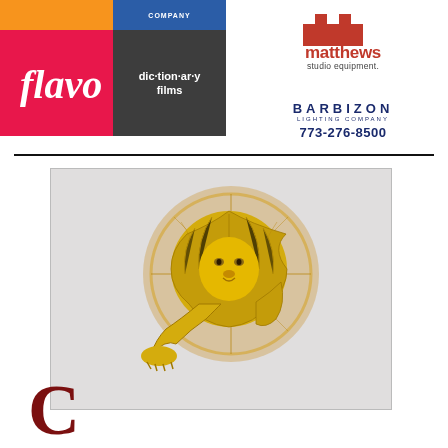[Figure (logo): Flavor logo (pink/red square with cursive 'flavor' text) and Dictionary Films logo (dark gray square with white text 'dic·tion·ar·y films'), with orange and blue strips above]
[Figure (logo): Matthews Studio Equipment logo (red block-letter M shape, text 'matthews studio equipment.')]
[Figure (logo): Barbizon Lighting Company logo with text 'BARBIZON', 'LIGHTING COMPANY', and phone number '773-276-8500']
[Figure (photo): Gold Cannes Lions trophy - a golden lion statuette on a circular disc background]
C